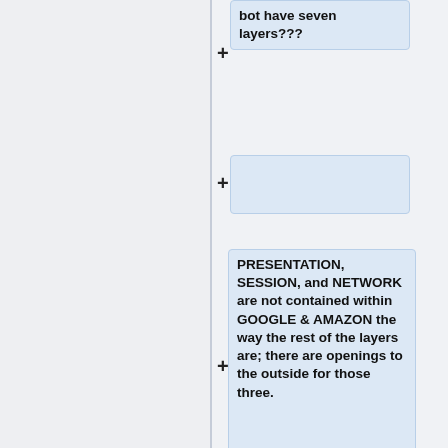bot have seven layers???
PRESENTATION, SESSION, and NETWORK are not contained within GOOGLE & AMAZON the way the rest of the layers are; there are openings to the outside for those three.